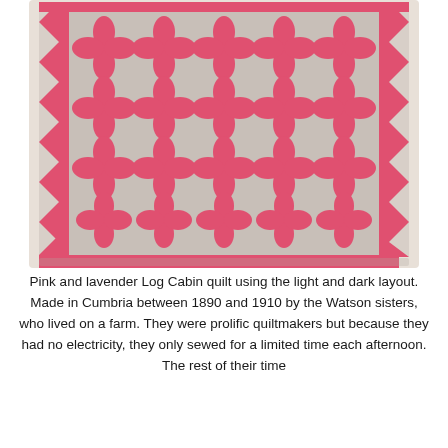[Figure (photo): A pink and lavender Log Cabin quilt with a geometric pattern of four-petaled flower/diamond shapes arranged in a grid, bordered by a pink and white zigzag chevron border on the sides and bottom.]
Pink and lavender Log Cabin quilt using the light and dark layout. Made in Cumbria between 1890 and 1910 by the Watson sisters, who lived on a farm. They were prolific quiltmakers but because they had no electricity, they only sewed for a limited time each afternoon. The rest of their time